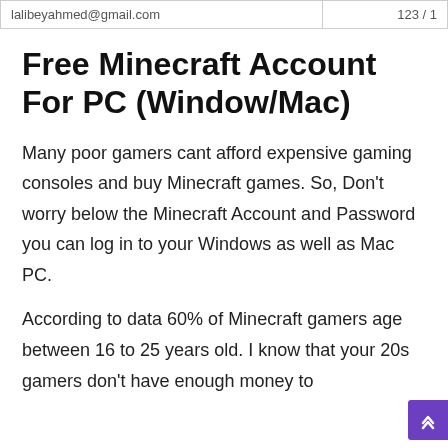| Email | Value |
| --- | --- |
| lalibeyahmed@gmail.com (partial) | 123 / 1 |
Free Minecraft Account For PC (Window/Mac)
Many poor gamers cant afford expensive gaming consoles and buy Minecraft games. So, Don't worry below the Minecraft Account and Password you can log in to your Windows as well as Mac PC.
According to data 60% of Minecraft gamers age between 16 to 25 years old. I know that your 20s gamers don't have enough money to